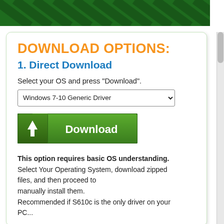[Figure (illustration): Green diagonal striped banner at the top of the page]
DOWNLOAD OPTIONS:
1. Direct Download
Select your OS and press "Download".
Windows 7-10 Generic Driver (dropdown)
[Figure (illustration): Green Download button with down arrow icon]
This option requires basic OS understanding. Select Your Operating System, download zipped files, and then proceed to manually install them. Recommended if S610c is the only driver on your PC...